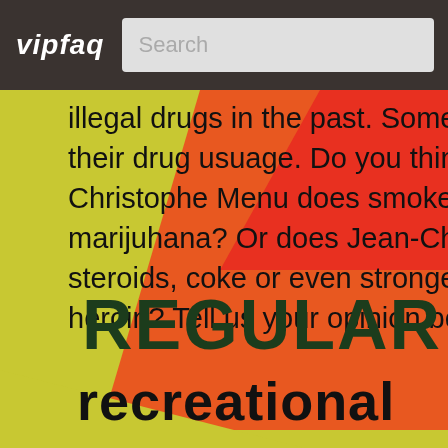vipfaq | Search
illegal drugs in the past. Some even openly admit their drug usuage. Do you think that Jean-Christophe Menu does smoke cigarettes, weed or marijuhana? Or does Jean-Christophe Menu do steroids, coke or even stronger drugs such as heroin? Tell us your opinion below.
[Figure (infographic): Colorful diagonal striped background with yellow-green, orange, and red diagonal bands. Large bold text reading REGULAR, recreational, NEVER on the colored background.]